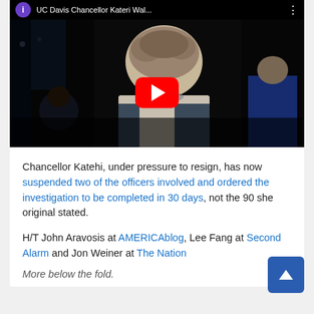[Figure (screenshot): YouTube video thumbnail showing UC Davis Chancellor Katehi walking at night with crowd, with red YouTube play button overlay and video title bar at top.]
Chancellor Katehi, under pressure to resign, has now suspended two of the officers involved and ordered the investigation to be completed in 30 days, not the 90 she original stated.
H/T John Aravosis at AMERICAblog, Lee Fang at Second Alarm and Jon Weiner at The Nation
More below the fold.